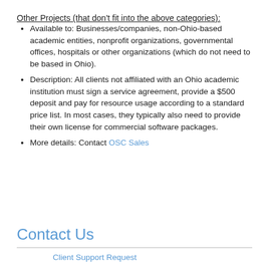Other Projects (that don't fit into the above categories):
Available to: Businesses/companies, non-Ohio-based academic entities, nonprofit organizations, governmental offices, hospitals or other organizations (which do not need to be based in Ohio).
Description: All clients not affiliated with an Ohio academic institution must sign a service agreement, provide a $500 deposit and pay for resource usage according to a standard price list. In most cases, they typically also need to provide their own license for commercial software packages.
More details: Contact OSC Sales
Contact Us
Client Support Request